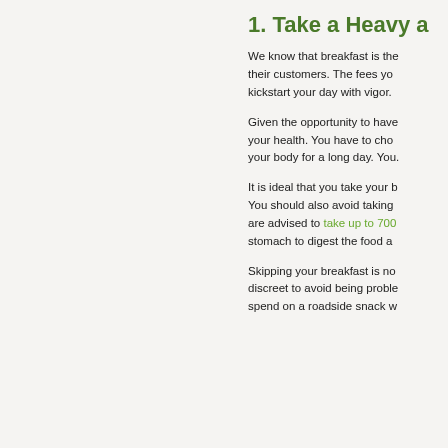1. Take a Heavy a
We know that breakfast is the... their customers. The fees yo... kickstart your day with vigor.
Given the opportunity to have... your health. You have to cho... your body for a long day. You.
It is ideal that you take your b... You should also avoid taking... are advised to take up to 700... stomach to digest the food a...
Skipping your breakfast is no... discreet to avoid being proble... spend on a roadside snack w...